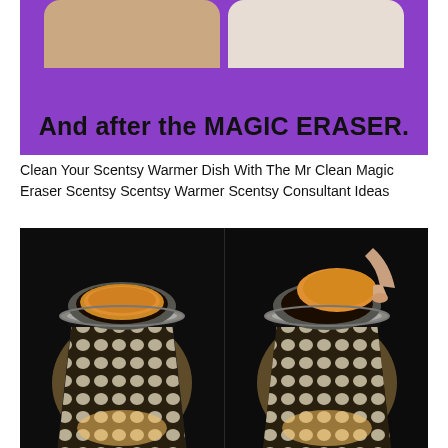[Figure (photo): Split image on purple background: left shows a stained/dirty Scentsy warmer dish, right shows a clean white warmer dish after using Magic Eraser. Bold text reads 'And after the MAGIC ERASER.' on the purple background.]
Clean Your Scentsy Warmer Dish With The Mr Clean Magic Eraser Scentsy Scentsy Warmer Scentsy Consultant Ideas
[Figure (photo): Side-by-side dark photos of a decorative Scentsy wax warmer with a mosaic/lattice pattern, glowing from inside. Left shows the warmer with melted amber/orange wax in the dish. Right shows a hand pressing a finger into the solidified wax disc to pop it out.]